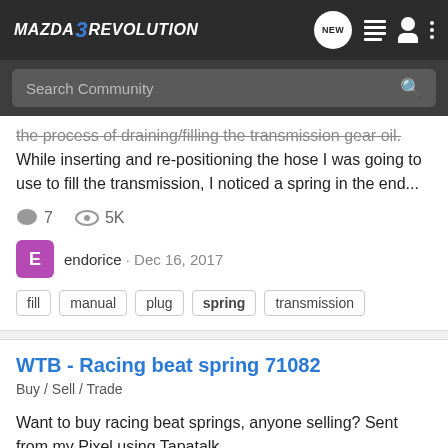Mazda3Revolution — navigation bar with NEW, list, user, and menu icons
Search Community
the process of draining/filling the transmission gear oil. While inserting and re-positioning the hose I was going to use to fill the transmission, I noticed a spring in the end...
7 comments · 5K views
endorice · Dec 16, 2017
fill
manual
plug
spring
transmission
WTB - Racing beat spring 71082
Buy / Sell / Trade
Want to buy racing beat springs, anyone selling? Sent from my Pixel using Tapatalk
0 comments · 606 views
savalee101 · Jul 22, 2017